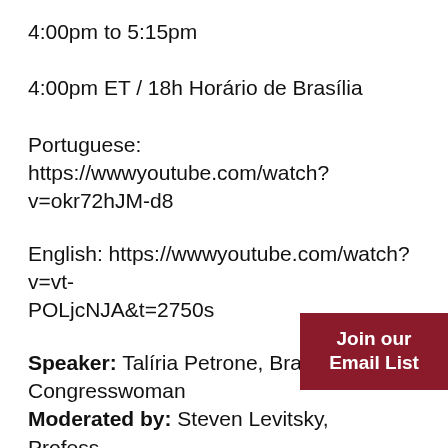4:00pm to 5:15pm
4:00pm ET / 18h Horário de Brasília
Portuguese: https://wwwyoutube.com/watch?v=okr72hJM-d8
English: https://wwwyoutube.com/watch?v=vt-POLjcNJA&t=2750s
Speaker: Talíria Petrone, Brazilian Congresswoman
Moderated by: Steven Levitsky, Professor Government, Harvard University; Director DRCLAS
Join our Email List